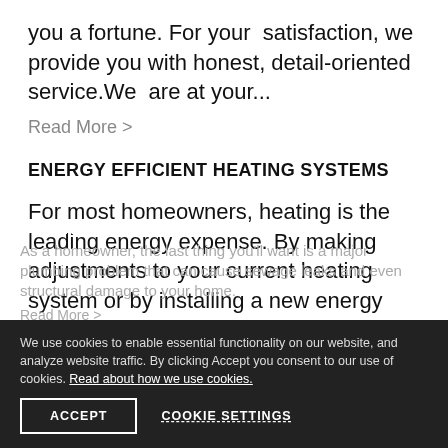you a fortune. For your satisfaction, we provide you with honest, detail-oriented service.We are at your...
Read More >
ENERGY EFFICIENT HEATING SYSTEMS
For most homeowners, heating is the leading energy expense. By making adjustments to your current heating system or by installing a new energy efficient system, you can cut down on energy consumption and save money in th...
Read More >
GENERAL PLUMBING
As a homeowner, the last thing you'll want is a major plumbing problem that can cause sewage leaks and even structural damage to your home.
Read More >
We use cookies to enable essential functionality on our website, and analyze website traffic. By clicking Accept you consent to our use of cookies. Read about how we use cookies.